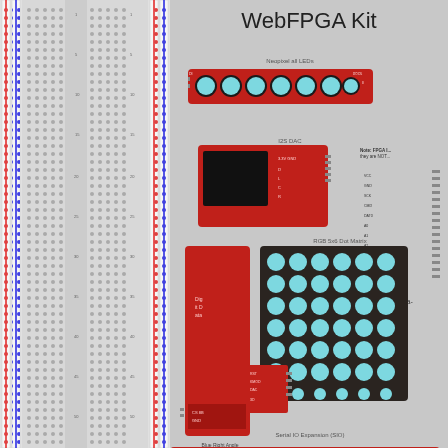WebFPGA Kit
[Figure (schematic): Breadboard with red and blue power rails and rows of tie points]
Neopixel all LEDs
[Figure (schematic): NeoPixel LED strip board (red PCB, 8 blue LEDs)]
I2S DAC
[Figure (schematic): I2S DAC module (red PCB, black chip)]
RGB 5x6 Dot Matrix
[Figure (schematic): RGB 5x6 dot matrix display module (dark PCB with cyan LEDs in grid)]
[Figure (schematic): Blue Right Angle 4 digit 7 segment display (tall red PCB)]
Blue Right Angle 4 digit 7 segment Display
Note: FPGA I... they are NOT...
Sha-
Serial IO Expansion (SIO)
[Figure (schematic): Serial IO Expansion Board (SIO) - red PCB with switches and connectors]
Serial IO Expansion Board:
20 Bi-color LEDs (40 total)
8 slide switches
Multi-directional switch (N,S,E,W,push)
8 digital outputs
8 digital inputs (5v tolerant)